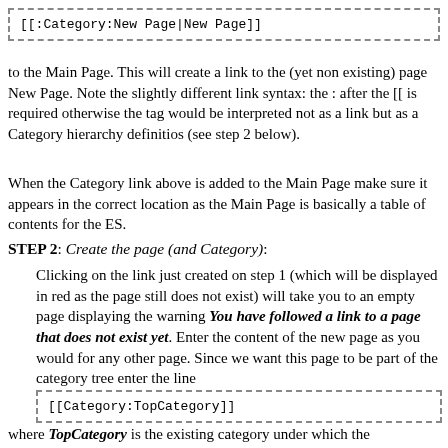[Figure (screenshot): Dashed border code box showing: [[:Category:New Page|New Page]]]
to the Main Page. This will create a link to the (yet non existing) page New Page. Note the slightly different link syntax: the : after the [[ is required otherwise the tag would be interpreted not as a link but as a Category hierarchy definitios (see step 2 below).
When the Category link above is added to the Main Page make sure it appears in the correct location as the Main Page is basically a table of contents for the ES.
STEP 2: Create the page (and Category):
Clicking on the link just created on step 1 (which will be displayed in red as the page still does not exist) will take you to an empty page displaying the warning You have followed a link to a page that does not exist yet. Enter the content of the new page as you would for any other page. Since we want this page to be part of the category tree enter the line
[Figure (screenshot): Dashed border code box showing: [[Category:TopCategory]]]
where TopCategory is the existing category under which the